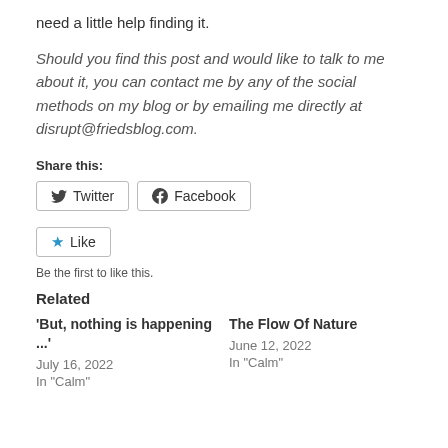need a little help finding it.
Should you find this post and would like to talk to me about it, you can contact me by any of the social methods on my blog or by emailing me directly at disrupt@friedsblog.com.
Share this:
[Figure (other): Twitter and Facebook share buttons]
[Figure (other): Like button]
Be the first to like this.
Related
'But, nothing is happening ...' July 16, 2022 In "Calm"
The Flow Of Nature June 12, 2022 In "Calm"